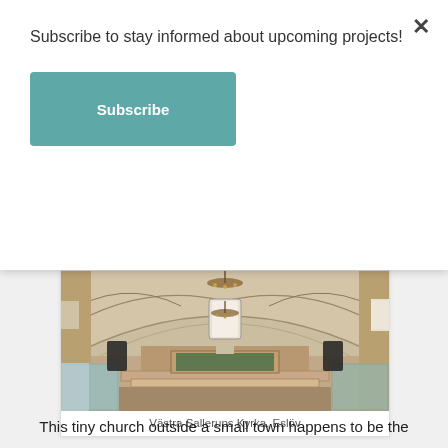Subscribe to stay informed about upcoming projects!
Subscribe
[Figure (photo): Interior photo of Västra Sallerups Kyrka church in Eslöv, Sweden, showing the nave with arched vaulted ceiling, altar, wooden pews, and chandeliers.]
Västra Sallerups Kyrka, Eslöv
This tiny church outside a small town happens to be the